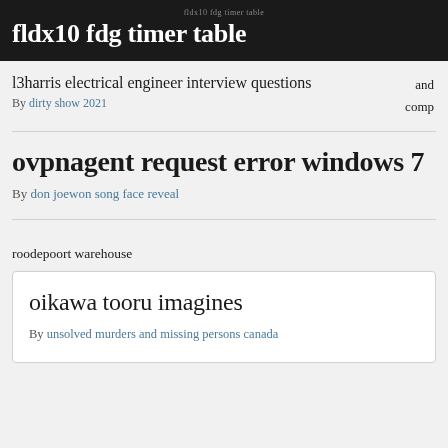fldx10 fdg timer table
l3harris electrical engineer interview questions
By dirty show 2021
ovpnagent request error windows 7
By don joewon song face reveal
roodepoort warehouse
oikawa tooru imagines
By unsolved murders and missing persons canada